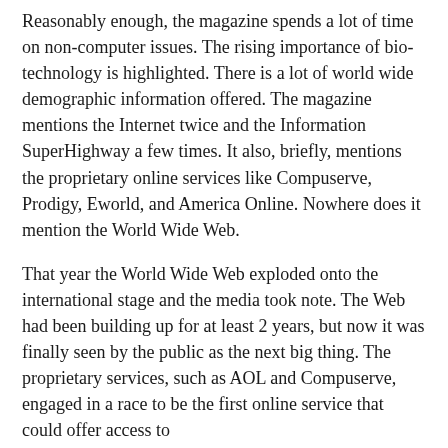Reasonably enough, the magazine spends a lot of time on non-computer issues. The rising importance of bio-technology is highlighted. There is a lot of world wide demographic information offered. The magazine mentions the Internet twice and the Information SuperHighway a few times. It also, briefly, mentions the proprietary online services like Compuserve, Prodigy, Eworld, and America Online. Nowhere does it mention the World Wide Web.
That year the World Wide Web exploded onto the international stage and the media took note. The Web had been building up for at least 2 years, but now it was finally seen by the public as the next big thing. The proprietary services, such as AOL and Compuserve, engaged in a race to be the first online service that could offer access to